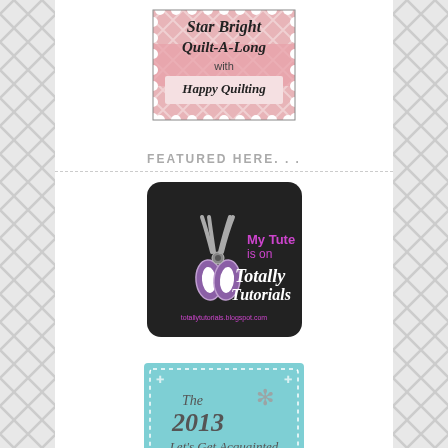[Figure (illustration): Star Bright Quilt-A-Long with Happy Quilting stamp-style badge with pink chevron pattern and decorative perforated border]
FEATURED HERE...
[Figure (logo): My Tute is on Totally Tutorials badge with purple scissors graphic on black rounded-square background, totallytutorials.blogspot.com]
[Figure (illustration): The 2013 Let's Get Acquainted New Blogger badge with teal/aqua background and asterisk decoration]